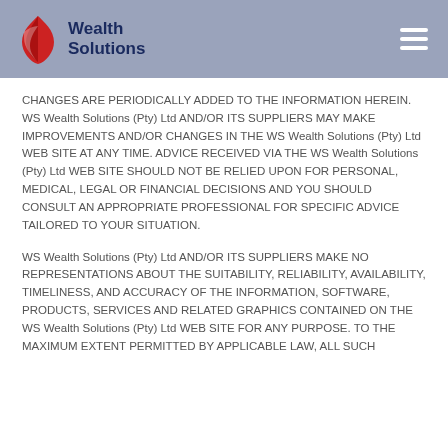Wealth Solutions
CHANGES ARE PERIODICALLY ADDED TO THE INFORMATION HEREIN. WS Wealth Solutions (Pty) Ltd AND/OR ITS SUPPLIERS MAY MAKE IMPROVEMENTS AND/OR CHANGES IN THE WS Wealth Solutions (Pty) Ltd WEB SITE AT ANY TIME. ADVICE RECEIVED VIA THE WS Wealth Solutions (Pty) Ltd WEB SITE SHOULD NOT BE RELIED UPON FOR PERSONAL, MEDICAL, LEGAL OR FINANCIAL DECISIONS AND YOU SHOULD CONSULT AN APPROPRIATE PROFESSIONAL FOR SPECIFIC ADVICE TAILORED TO YOUR SITUATION.
WS Wealth Solutions (Pty) Ltd AND/OR ITS SUPPLIERS MAKE NO REPRESENTATIONS ABOUT THE SUITABILITY, RELIABILITY, AVAILABILITY, TIMELINESS, AND ACCURACY OF THE INFORMATION, SOFTWARE, PRODUCTS, SERVICES AND RELATED GRAPHICS CONTAINED ON THE WS Wealth Solutions (Pty) Ltd WEB SITE FOR ANY PURPOSE. TO THE MAXIMUM EXTENT PERMITTED BY APPLICABLE LAW, ALL SUCH